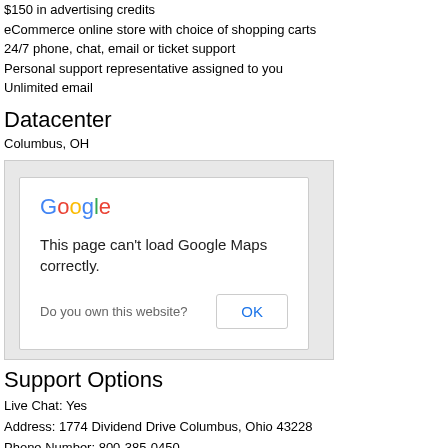$150 in advertising credits
eCommerce online store with choice of shopping carts
24/7 phone, chat, email or ticket support
Personal support representative assigned to you
Unlimited email
Datacenter
Columbus, OH
[Figure (screenshot): Google Maps error dialog showing 'This page can't load Google Maps correctly.' with 'Do you own this website?' and an OK button, inside a gray map area]
Support Options
Live Chat: Yes
Address: 1774 Dividend Drive Columbus, Ohio 43228
Phone Number: 800-385-0450
Email: support@ixwebhosting.com